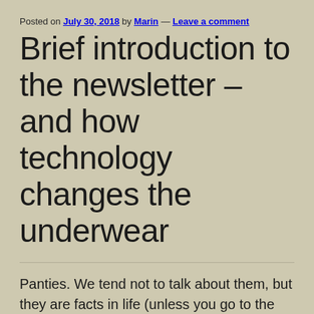Posted on July 30, 2018 by Marin — Leave a comment
Brief introduction to the newsletter – and how technology changes the underwear
Panties. We tend not to talk about them, but they are facts in life (unless you go to the commando team). The briefing has a fascinating history and is now being changed by technology. High-performance underwear claims to do anything from filtering flatulence to soothing vibration.